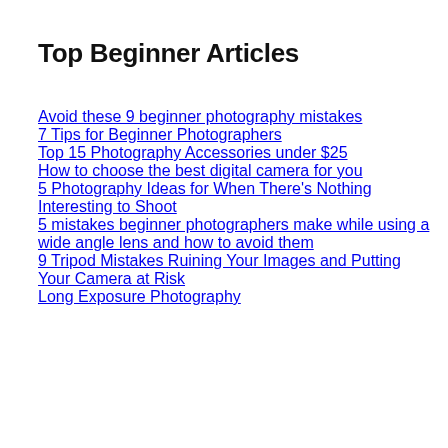Top Beginner Articles
Avoid these 9 beginner photography mistakes
7 Tips for Beginner Photographers
Top 15 Photography Accessories under $25
How to choose the best digital camera for you
5 Photography Ideas for When There's Nothing Interesting to Shoot
5 mistakes beginner photographers make while using a wide angle lens and how to avoid them
9 Tripod Mistakes Ruining Your Images and Putting Your Camera at Risk
Long Exposure Photography